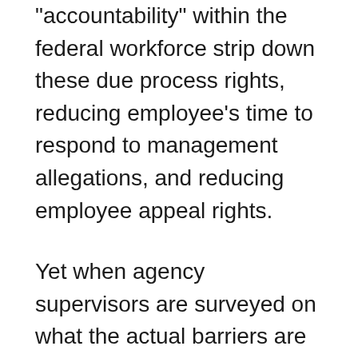“accountability” within the federal workforce strip down these due process rights, reducing employee’s time to respond to management allegations, and reducing employee appeal rights.
Yet when agency supervisors are surveyed on what the actual barriers are to taking action against poor performing and misbehaving employees, the supervisors say the biggest factors are their agency’s culture, support from top agency officials, and support from the human resources